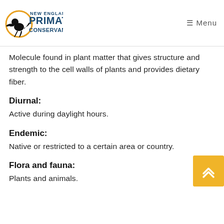New England Primate Conservancy — Menu
Molecule found in plant matter that gives structure and strength to the cell walls of plants and provides dietary fiber.
Diurnal:
Active during daylight hours.
Endemic:
Native or restricted to a certain area or country.
Flora and fauna:
Plants and animals.